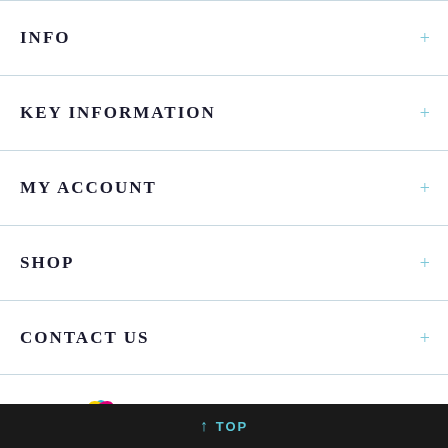INFO
KEY INFORMATION
MY ACCOUNT
SHOP
CONTACT US
[Figure (logo): PromoFrames logo with colorful flower/petal icon and serif wordmark]
© 2020 Promoframes. All Rights Reserved.
↑ TOP